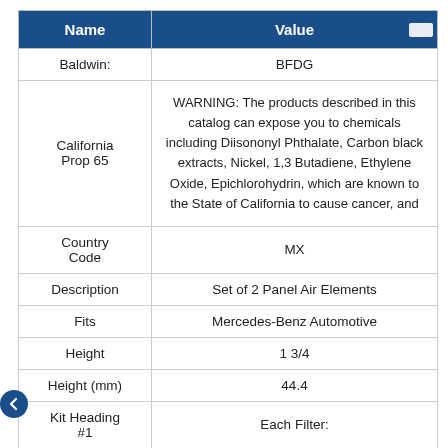| Name | Value |
| --- | --- |
| Baldwin: | BFDG |
| California Prop 65 | WARNING: The products described in this catalog can expose you to chemicals including Diisononyl Phthalate, Carbon black extracts, Nickel, 1,3 Butadiene, Ethylene Oxide, Epichlorohydrin, which are known to the State of California to cause cancer, and |
| Country Code | MX |
| Description | Set of 2 Panel Air Elements |
| Fits | Mercedes-Benz Automotive |
| Height | 1 3/4 |
| Height (mm) | 44.4 |
| Kit Heading #1 | Each Filter: |